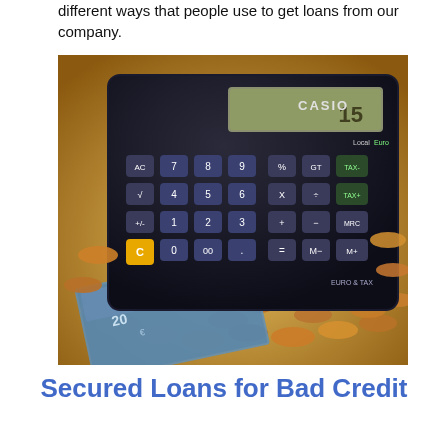different ways that people use to get loans from our company.
[Figure (photo): A Casio calculator (Euro & Tax model) sitting on a pile of euro coins and bank notes, with a blue-gray metallic body and yellow C button visible.]
Secured Loans for Bad Credit